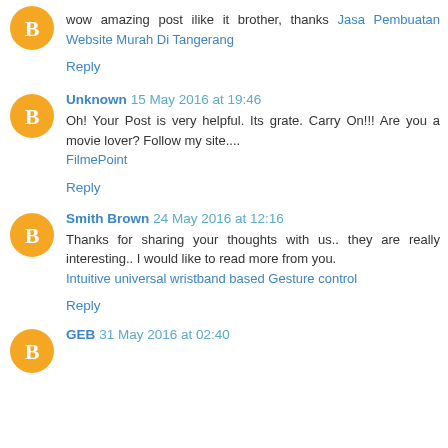wow amazing post ilike it brother, thanks Jasa Pembuatan Website Murah Di Tangerang
Reply
Unknown 15 May 2016 at 19:46
Oh! Your Post is very helpful. Its grate. Carry On!!! Are you a movie lover? Follow my site.... FilmePoint
Reply
Smith Brown 24 May 2016 at 12:16
Thanks for sharing your thoughts with us.. they are really interesting.. I would like to read more from you. Intuitive universal wristband based Gesture control
Reply
GEB 31 May 2016 at 02:40